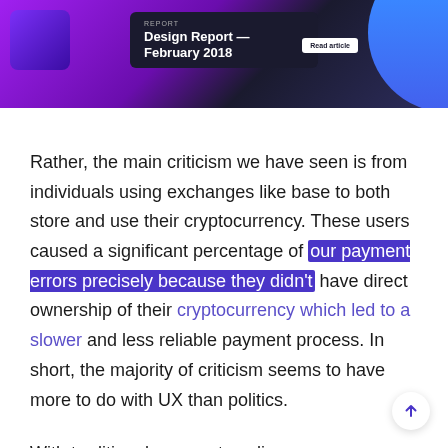[Figure (illustration): A banner image showing a dark design report card with title 'Design Report — February 2018', purple gradient background, blue geometric shapes, and a 'Read article' button.]
Rather, the main criticism we have seen is from individuals using exchanges like base to both store and use their cryptocurrency. These users caused a significant percentage of our payment errors precisely because they didn't have direct ownership of their cryptocurrency which led to a slower and less reliable payment process. In short, the majority of criticism seems to have more to do with UX than politics.
With traditional payments online, you never actually send a payment. That sounds shocking, but it's true. The payment processor pulls the required funds from your